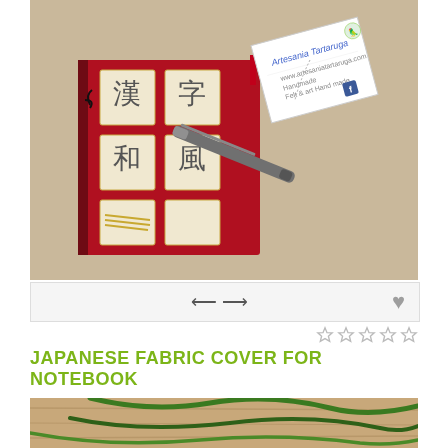[Figure (photo): Photo of a Japanese fabric notebook cover with red and cream patterned fabric featuring kanji characters, with a metal fountain pen resting on it and a business card tag from 'Artesania Tartaruga' attached. Background is beige/cream.]
[Figure (other): Thumbnail navigation bar with left-right arrows and a heart/favorite icon button on the right.]
★★★★★ (star rating, all empty)
JAPANESE FABRIC COVER FOR NOTEBOOK
[Figure (photo): Partial photo showing green cord/rope on a wooden surface — bottom of page, cropped.]